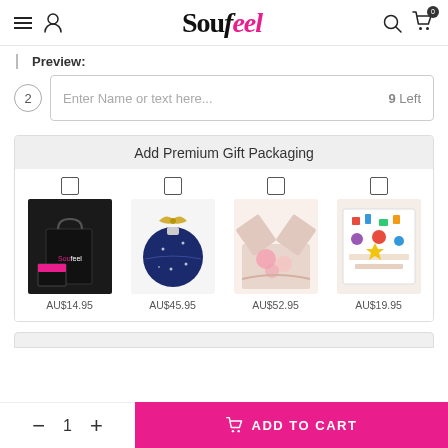Soufeel - navigation header with menu, user, search, and cart icons
Preview:
Enter Name or text here...  9 Left
Add Premium Gift Packaging
[Figure (photo): Four gift packaging options with checkboxes: black Soufeel bag/box set (AU$14.95), dark blue ornament ball with gold bow (AU$45.95), pink flower box (AU$52.95), colorful birthday card/bag (AU$19.95)]
1  + ADD TO CART